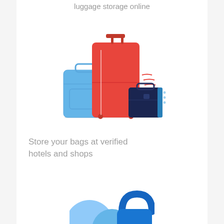luggage storage online
[Figure (illustration): Illustration of three pieces of luggage: a large red rolling suitcase in the center, a blue bag on the left, and a dark navy/blue briefcase on the right, with decorative red lines and blue dots.]
Store your bags at verified hotels and shops
[Figure (illustration): Partial illustration of a lock/shield icon in blue at the bottom of the page.]